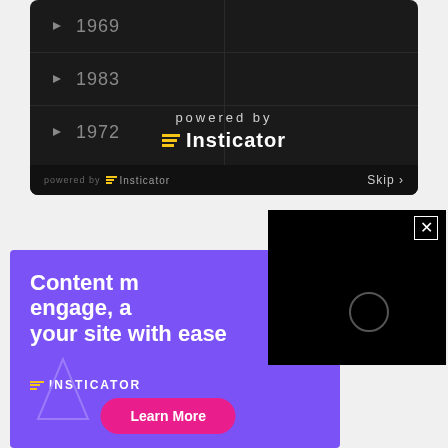[Figure (screenshot): Dark-themed quiz widget showing years 1969, 1983, 1972 with a 'powered by Insticator' overlay and a Skip button at the bottom]
[Figure (screenshot): Black video player popup with an X close button and a loading spinner circle]
[Figure (screenshot): Purple Insticator advertisement banner reading 'Content m[akes you] engage, a[nd grow] your site with ease' with INSTICATOR logo, a Learn More pink button, and a tablet mockup showing a Quiz card about CIA animals]